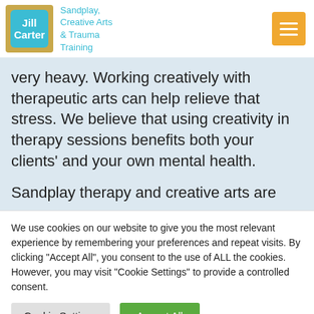Jill Carter — Sandplay, Creative Arts & Trauma Training
very heavy. Working creatively with therapeutic arts can help relieve that stress. We believe that using creativity in therapy sessions benefits both your clients' and your own mental health.

Sandplay therapy and creative arts are
We use cookies on our website to give you the most relevant experience by remembering your preferences and repeat visits. By clicking "Accept All", you consent to the use of ALL the cookies. However, you may visit "Cookie Settings" to provide a controlled consent.
Cookie Settings | Accept All